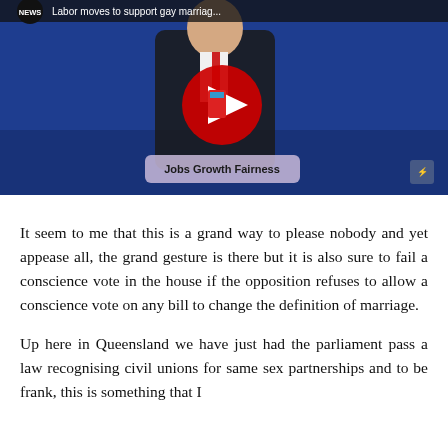[Figure (screenshot): YouTube video thumbnail showing a man in a dark suit speaking at a podium with a sign reading 'Jobs Growth Fairness'. A YouTube play button overlay is visible. Text at top reads 'Labor moves to support gay marriag...' with a NEWS label.]
It seem to me that this is a grand way to please nobody and yet appease all, the grand gesture is there but it is also sure to fail a conscience vote in the house if the opposition refuses to allow a conscience vote on any bill to change the definition of marriage.
Up here in Queensland we have just had the parliament pass a law recognising civil unions for same sex partnerships and to be frank, this is something that I